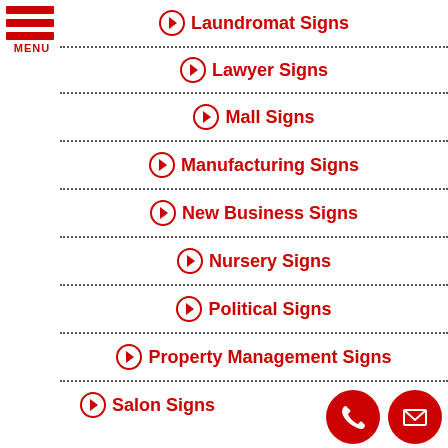[Figure (logo): Red hamburger menu icon with three horizontal bars and MENU label]
Laundromat Signs
Lawyer Signs
Mall Signs
Manufacturing Signs
New Business Signs
Nursery Signs
Political Signs
Property Management Signs
Salon Signs
[Figure (other): Two red circle buttons: phone icon and envelope/mail icon]